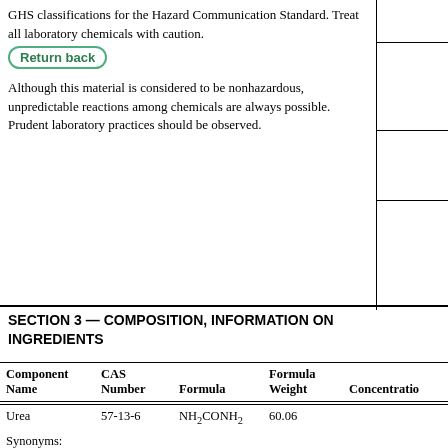GHS classifications for the Hazard Communication Standard. Treat all laboratory chemicals with caution.
Return back
Although this material is considered to be nonhazardous, unpredictable reactions among chemicals are always possible. Prudent laboratory practices should be observed.
SECTION 3 — COMPOSITION, INFORMATION ON INGREDIENTS
| Component Name | CAS Number | Formula | Formula Weight | Concentration |
| --- | --- | --- | --- | --- |
| Urea | 57-13-6 | NH₂CONH₂ | 60.06 |  |
| Synonyms: Isourea; |  |  |  |  |